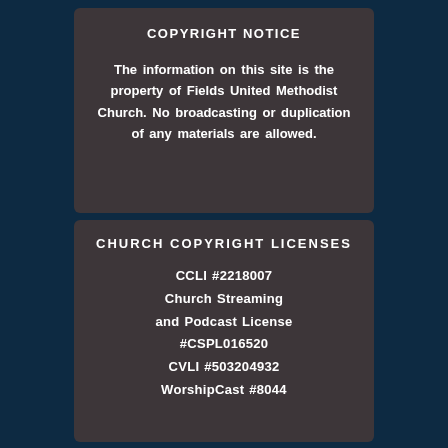COPYRIGHT NOTICE
The information on this site is the property of Fields United Methodist Church. No broadcasting or duplication of any materials are allowed.
CHURCH COPYRIGHT LICENSES
CCLI #2218007
Church Streaming
and Podcast License
#CSPL016520
CVLI #503204932
WorshipCast #8044